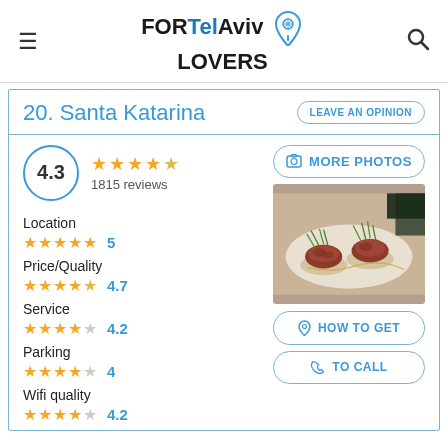FORTelAviv LOVERS
20. Santa Katarina
LEAVE AN OPINION
4.3 — 1815 reviews
Location — 5 stars — 5
Price/Quality — 4.5 stars — 4.7
Service — 4 stars — 4.2
Parking — 4 stars — 4
Wifi quality — 4 stars — 4.2
[Figure (photo): Food photo showing appetizers with meat tartar on crackers with green herb garnish]
MORE PHOTOS
HOW TO GET
TO CALL